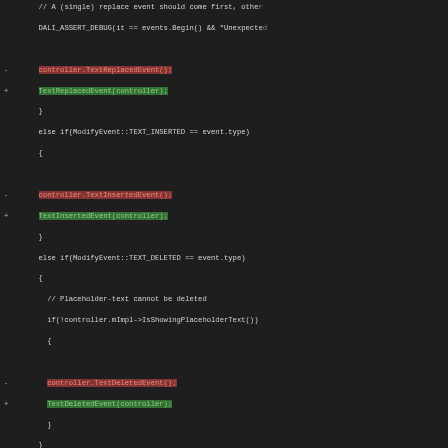[Figure (screenshot): Code diff screenshot showing C++ source code changes. Lines with '-' (red) and '+' (green) indicate removed and added code respectively. The diff shows refactoring of controller event handler methods (TextReplacedEvent, TextInsertedEvent, TextDeletedEvent, RemoveSelectedText, RemoveText) from member-function-style to free-function-style. A purple hunk header line shows '@@ -711,22 +713,18 @@ bool Controller::EventHandler::DeleteB'. The background is dark (dark theme code editor).]